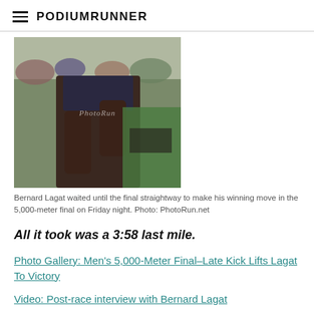PodiumRunner
[Figure (photo): Close-up action photo of a runner's legs mid-stride during a race, with crowd in background. Watermark reads PhotoRun.]
Bernard Lagat waited until the final straightway to make his winning move in the 5,000-meter final on Friday night. Photo: PhotoRun.net
All it took was a 3:58 last mile.
Photo Gallery: Men's 5,000-Meter Final–Late Kick Lifts Lagat To Victory
Video: Post-race interview with Bernard Lagat
Video: Post-race interview with Chris Solinsky
Video: Post-race interview with Galen Rupp